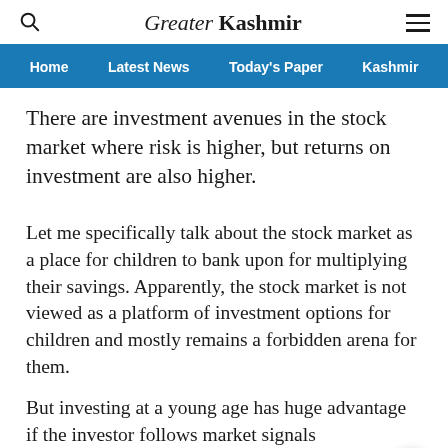Greater Kashmir
Home   Latest News   Today's Paper   Kashmir
There are investment avenues in the stock market where risk is higher, but returns on investment are also higher.
Let me specifically talk about the stock market as a place for children to bank upon for multiplying their savings. Apparently, the stock market is not viewed as a platform of investment options for children and mostly remains a forbidden arena for them.
But investing at a young age has huge advantage if the investor follows market signals meticulously.